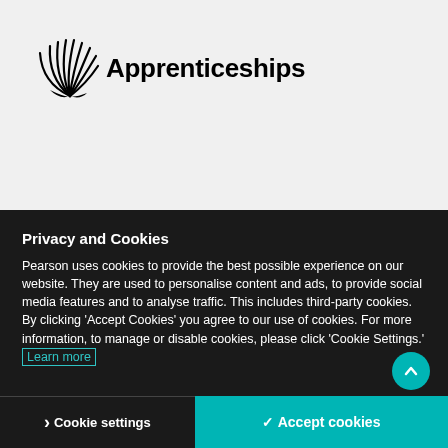[Figure (logo): Apprenticeships logo with feather/wing graphic and bold text 'Apprenticeships']
Privacy and Cookies
Pearson uses cookies to provide the best possible experience on our website. They are used to personalise content and ads, to provide social media features and to analyse traffic. This includes third-party cookies. By clicking 'Accept Cookies' you agree to our use of cookies. For more information, to manage or disable cookies, please click 'Cookie Settings.' Learn more